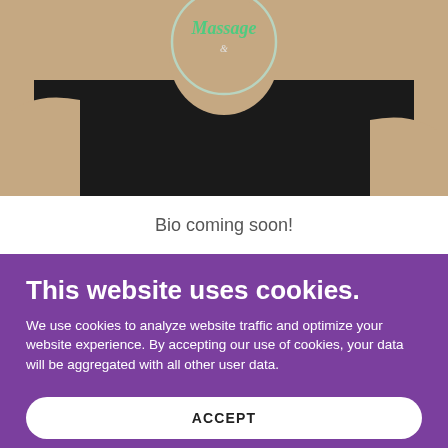[Figure (photo): Partial photo of a person wearing a black shirt with a massage business logo (showing 'Massage' text in green/white). Only the upper torso and arms are visible, cropped at the top.]
Bio coming soon!
This website uses cookies.
We use cookies to analyze website traffic and optimize your website experience. By accepting our use of cookies, your data will be aggregated with all other user data.
ACCEPT